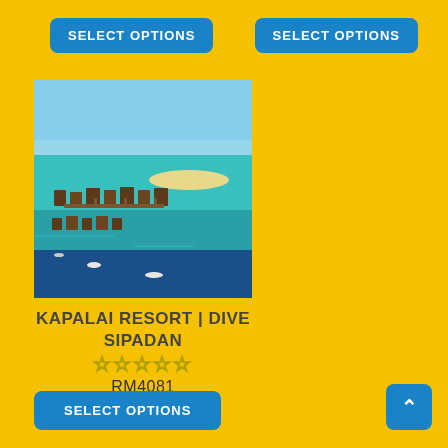SELECT OPTIONS (top-left button)
SELECT OPTIONS (top-right button)
[Figure (photo): Aerial photograph of Kapalai Resort, showing overwater bungalows on stilts above turquoise sea with a sandy island in the background and blue sky.]
KAPALAI RESORT | DIVE SIPADAN
★★★★★ (empty stars rating)
RM4081
SELECT OPTIONS (bottom button)